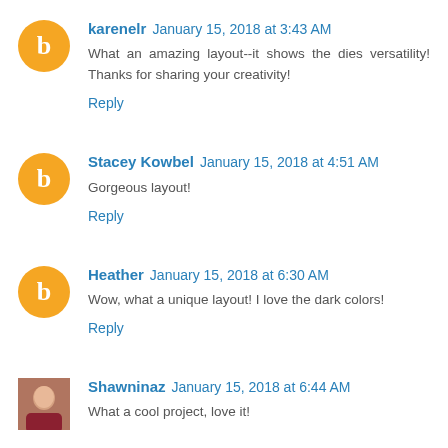karenelr January 15, 2018 at 3:43 AM
What an amazing layout--it shows the dies versatility! Thanks for sharing your creativity!
Reply
Stacey Kowbel January 15, 2018 at 4:51 AM
Gorgeous layout!
Reply
Heather January 15, 2018 at 6:30 AM
Wow, what a unique layout! I love the dark colors!
Reply
Shawninaz January 15, 2018 at 6:44 AM
What a cool project, love it!